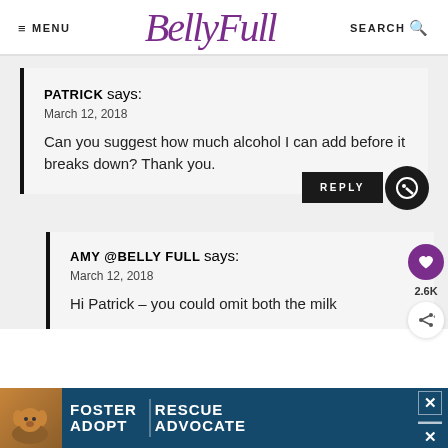≡ MENU  BellyFull  SEARCH 🔍
PATRICK says:
March 12, 2018

Can you suggest how much alcohol I can add before it breaks down? Thank you.
AMY @BELLY FULL says:
March 12, 2018

Hi Patrick – you could omit both the milk
[Figure (screenshot): Ad banner: Foster Adopt Advocate with dog image on dark blue background]